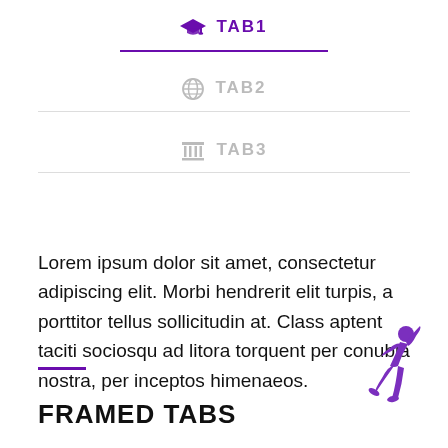TAB1
TAB2
TAB3
Lorem ipsum dolor sit amet, consectetur adipiscing elit. Morbi hendrerit elit turpis, a porttitor tellus sollicitudin at. Class aptent taciti sociosqu ad litora torquent per conubia nostra, per inceptos himenaeos.
FRAMED TABS